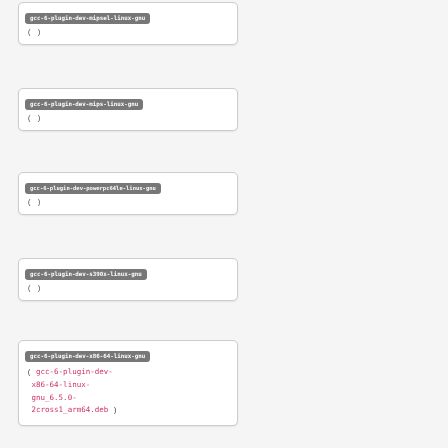gcc-6-plugin-dev-mipsel-linux-gnu
( )
gcc-6-plugin-dev-mips-linux-gnu
( )
gcc-6-plugin-dev-powerpc64le-linux-gnu
( )
gcc-6-plugin-dev-s390x-linux-gnu
( )
gcc-6-plugin-dev-x86-64-linux-gnu
( gcc-6-plugin-dev-x86-64-linux-gnu_6.5.0-2cross1_arm64.deb )